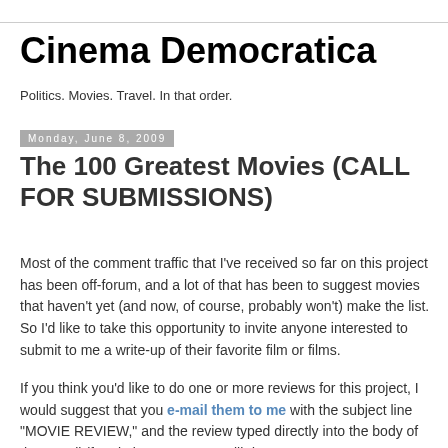Cinema Democratica
Politics. Movies. Travel. In that order.
Monday, June 8, 2009
The 100 Greatest Movies (CALL FOR SUBMISSIONS)
Most of the comment traffic that I've received so far on this project has been off-forum, and a lot of that has been to suggest movies that haven't yet (and now, of course, probably won't) make the list. So I'd like to take this opportunity to invite anyone interested to submit to me a write-up of their favorite film or films.
If you think you'd like to do one or more reviews for this project, I would suggest that you e-mail them to me with the subject line "MOVIE REVIEW," and the review typed directly into the body of the e-mail (for obvious reasons I will demur